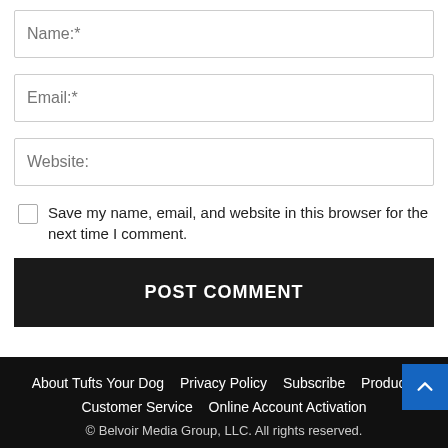Name:*
Email:*
Website:
Save my name, email, and website in this browser for the next time I comment.
POST COMMENT
About Tufts Your Dog   Privacy Policy   Subscribe   Products   Customer Service   Online Account Activation
© Belvoir Media Group, LLC. All rights reserved.